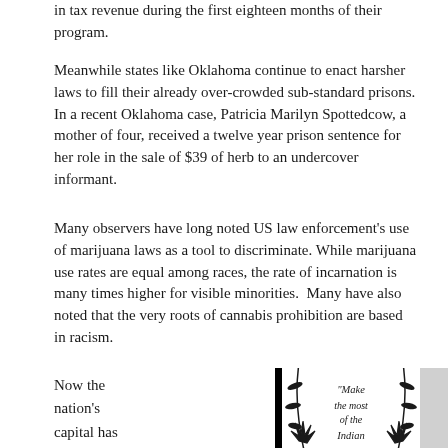in tax revenue during the first eighteen months of their program.
Meanwhile states like Oklahoma continue to enact harsher laws to fill their already over-crowded sub-standard prisons. In a recent Oklahoma case, Patricia Marilyn Spottedcow, a mother of four, received a twelve year prison sentence for her role in the sale of $39 of herb to an undercover informant.
Many observers have long noted US law enforcement’s use of marijuana laws as a tool to discriminate. While marijuana use rates are equal among races, the rate of incarnation is many times higher for visible minorities.  Many have also noted that the very roots of cannabis prohibition are based in racism.
Now the nation’s capital has joined states like California in
[Figure (photo): A photograph on a black background showing a white card with decorative botanical/cannabis leaf wreath border and the text “Make the most of the Indian Hemp Seed” in stylized lettering.]